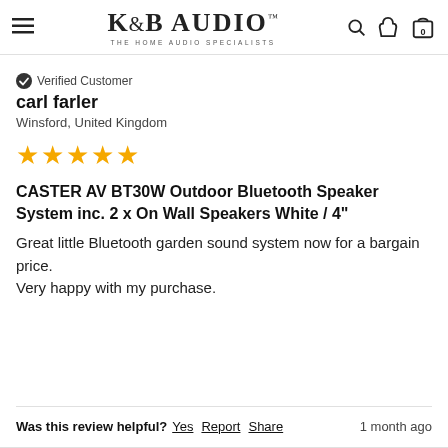K&B AUDIO THE HOME AUDIO SPECIALISTS
Verified Customer
carl farler
Winsford, United Kingdom
★★★★★
CASTER AV BT30W Outdoor Bluetooth Speaker System inc. 2 x On Wall Speakers White / 4"
Great little Bluetooth garden sound system now for a bargain price.
Very happy with my purchase.
Was this review helpful? Yes Report Share   1 month ago